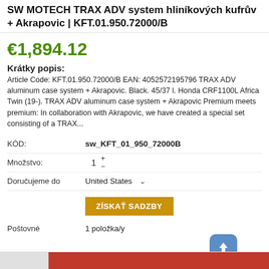SW MOTECH TRAX ADV system hliníkových kufrův + Akrapovic | KFT.01.950.72000/B
€1,894.12
Krátky popis:
Article Code: KFT.01.950.72000/B EAN: 4052572195796 TRAX ADV aluminum case system + Akrapovic. Black. 45/37 l. Honda CRF1100L Africa Twin (19-). TRAX ADV aluminum case system + Akrapovic Premium meets premium: In collaboration with Akrapovic, we have created a special set consisting of a TRAX...
| Field | Value |
| --- | --- |
| KÓD: | sw_KFT_01_950_72000B |
| Množstvo: | 1 |
| Doručujeme do | United States |
|  | ZÍSKAŤ SADZBY |
| Poštovné | 1 položka/y
žiaľ na túto adresu nedoručujeme. |